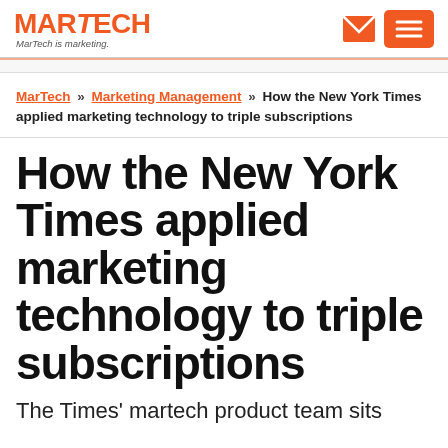MARTECH — MarTech is marketing.
MarTech » Marketing Management » How the New York Times applied marketing technology to triple subscriptions
How the New York Times applied marketing technology to triple subscriptions
The Times' martech product team sits